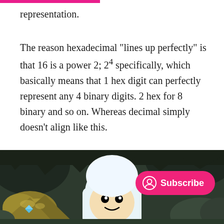representation.
The reason hexadecimal "lines up perfectly" is that 16 is a power 2; 2⁴ specifically, which basically means that 1 hex digit can perfectly represent any 4 binary digits. 2 hex for 8 binary and so on. Whereas decimal simply doesn't align like this.
[Figure (illustration): Cartoon scene showing a character (Finn from Adventure Time) with a white hat, surrounded by golden/yellow rocks and dark cave-like background. A pink Subscribe button overlays the bottom right.]